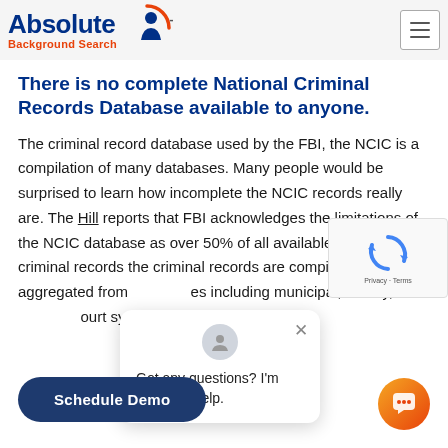Absolute Background Search — navigation header with logo and menu button
There is no complete National Criminal Records Database available to anyone.
The criminal record database used by the FBI, the NCIC is a compilation of many databases. Many people would be surprised to learn how incomplete the NCIC records really are. The Hill reports that FBI acknowledges the limitations of the NCIC database as over 50% of all available missing criminal records the criminal records are compiled and aggregated from sources including municipal, county, state court systems throughout the
[Figure (screenshot): reCAPTCHA widget overlay in top-right area]
[Figure (screenshot): Chat popup overlay: avatar icon, close X button, message 'Got any questions? I'm happy to help.']
[Figure (screenshot): Schedule Demo button (dark navy blue pill shape) and orange chat icon in bottom corners]